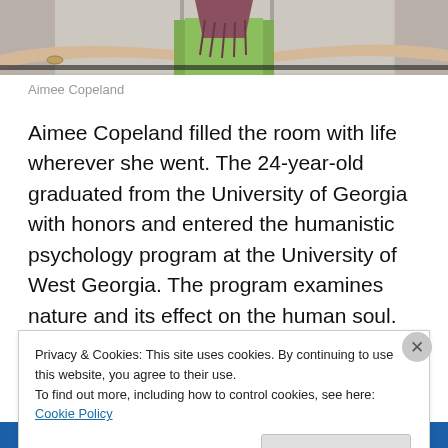[Figure (photo): Photo of Aimee Copeland standing with arms outstretched, wearing a green dress and a brownish-red scarf with fringe, taken in what appears to be a public building with glass doors visible in the background. Only the torso and arms are visible, cropped at the top.]
Aimee Copeland
Aimee Copeland filled the room with life wherever she went. The 24-year-old graduated from the University of Georgia with honors and entered the humanistic psychology program at the University of West Georgia. The program examines nature and its effect on the human soul. She hoped to use a therapy with trouble youths in
Privacy & Cookies: This site uses cookies. By continuing to use this website, you agree to their use.
To find out more, including how to control cookies, see here: Cookie Policy
Close and accept